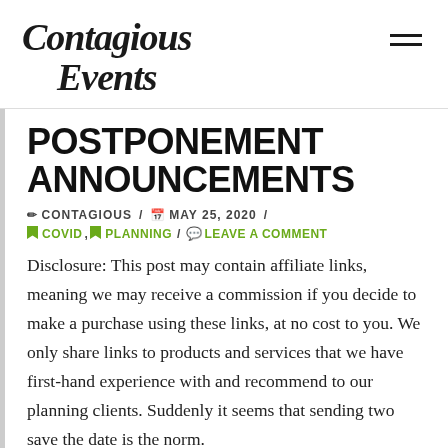Contagious Events
POSTPONEMENT ANNOUNCEMENTS
✏ CONTAGIOUS / 📅 MAY 25, 2020 /
COVID, PLANNING / LEAVE A COMMENT
Disclosure: This post may contain affiliate links, meaning we may receive a commission if you decide to make a purchase using these links, at no cost to you. We only share links to products and services that we have first-hand experience with and recommend to our planning clients. Suddenly it seems that sending two save the date is the norm.